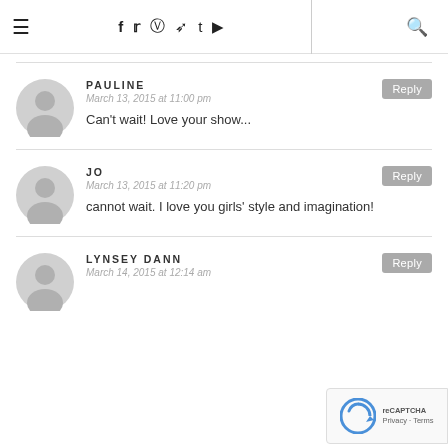≡   f  t  ⊕  ℗  t  ▶  |  🔍
PAULINE
March 13, 2015 at 11:00 pm
Can't wait! Love your show...
JO
March 13, 2015 at 11:20 pm
cannot wait. I love you girls' style and imagination!
LYNSEY DANN
March 14, 2015 at 12:14 am